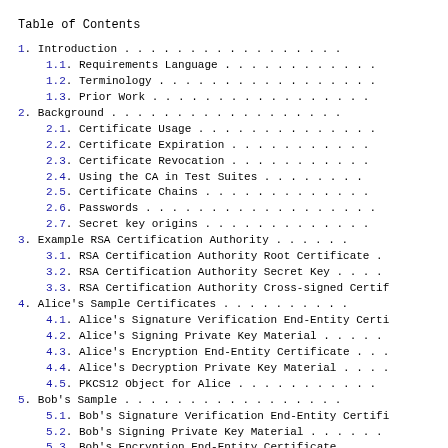Table of Contents
1.  Introduction . . . . . . . . . . . . . . . . .
1.1.  Requirements Language . . . . . . . . . . . .
1.2.  Terminology . . . . . . . . . . . . . . . . .
1.3.  Prior Work . . . . . . . . . . . . . . . . .
2.  Background . . . . . . . . . . . . . . . . . .
2.1.  Certificate Usage . . . . . . . . . . . . . .
2.2.  Certificate Expiration . . . . . . . . . . .
2.3.  Certificate Revocation . . . . . . . . . . .
2.4.  Using the CA in Test Suites . . . . . . . .
2.5.  Certificate Chains . . . . . . . . . . . . .
2.6.  Passwords . . . . . . . . . . . . . . . . . .
2.7.  Secret key origins . . . . . . . . . . . . .
3.  Example RSA Certification Authority . . . . . .
3.1.  RSA Certification Authority Root Certificate .
3.2.  RSA Certification Authority Secret Key . . . .
3.3.  RSA Certification Authority Cross-signed Certif
4.  Alice's Sample Certificates . . . . . . . . . .
4.1.  Alice's Signature Verification End-Entity Certi
4.2.  Alice's Signing Private Key Material . . . . .
4.3.  Alice's Encryption End-Entity Certificate . . .
4.4.  Alice's Decryption Private Key Material . . . .
4.5.  PKCS12 Object for Alice . . . . . . . . . . .
5.  Bob's Sample . . . . . . . . . . . . . . . . .
5.1.  Bob's Signature Verification End-Entity Certifi
5.2.  Bob's Signing Private Key Material . . . . . .
5.3.  Bob's Encryption End-Entity Certificate . . . .